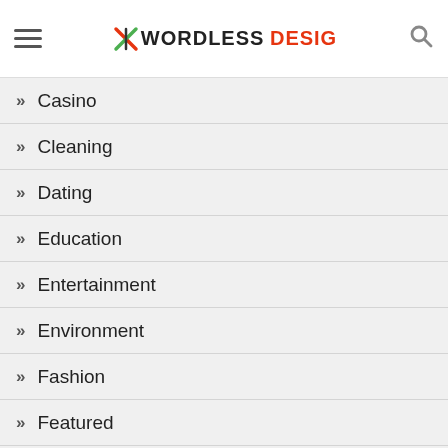WORDLESS DESIG
Casino
Cleaning
Dating
Education
Entertainment
Environment
Fashion
Featured
Finance
Flooring
Food
Fume Extractors